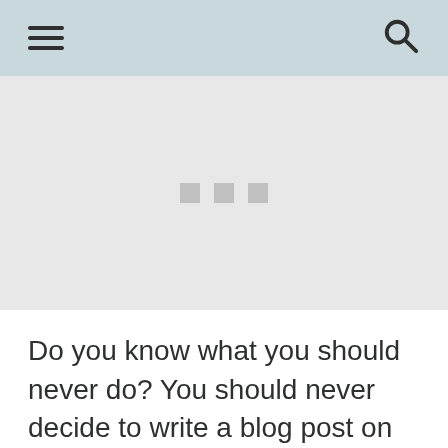[hamburger menu icon] [search icon]
[Figure (other): Placeholder image area with three small grey squares in the center on a light grey background]
Do you know what you should never do? You should never decide to write a blog post on how to make a chocolate soufflé the week